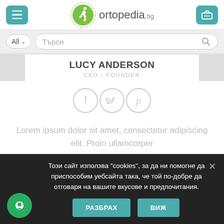ortopedia.bg
Търси
LUCY ANDERSON
CEO / FOUNDER
[Figure (illustration): Three circular social media icons: Facebook, Twitter, Pinterest]
Lorem ipsum dolor sit amet, consectetur adipiscing elit. Proin ullamcorper
Този сайт използва "cookies", за да ни помогне да приспособим уебсайта така, че той по-добре да отговаря на вашите вкусове и предпочитания.